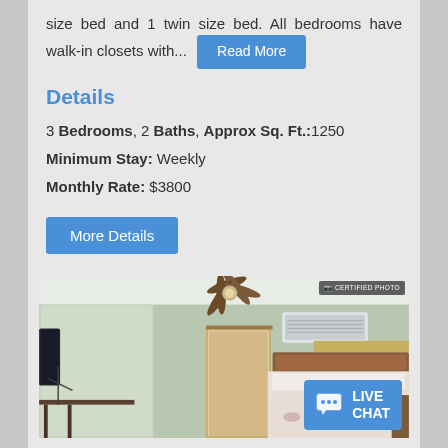size bed and 1 twin size bed. All bedrooms have walk-in closets with... Read More
Details
3 Bedrooms, 2 Baths, Approx Sq. Ft.:1250
Minimum Stay: Weekly
Monthly Rate: $3800
More Details
[Figure (photo): Interior photo of a bedroom with ceiling fan, air conditioning unit, bed with floral bedding, light green walls, and a door leading to another room. Live Chat button visible in bottom right corner.]